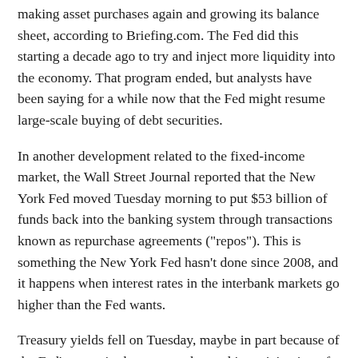making asset purchases again and growing its balance sheet, according to Briefing.com. The Fed did this starting a decade ago to try and inject more liquidity into the economy. That program ended, but analysts have been saying for a while now that the Fed might resume large-scale buying of debt securities.
In another development related to the fixed-income market, the Wall Street Journal reported that the New York Fed moved Tuesday morning to put $53 billion of funds back into the banking system through transactions known as repurchase agreements ("repos"). This is something the New York Fed hasn't done since 2008, and it happens when interest rates in the interbank markets go higher than the Fed wants.
Treasury yields fell on Tuesday, maybe in part because of the Fed's move in the repo market and in anticipation of today's potential rate cut. The 10-year yield, which rose above 1.9% last week, is now back to